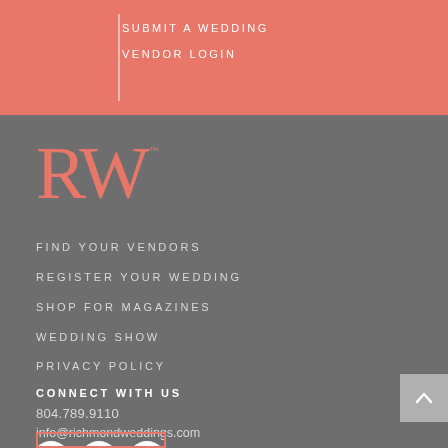SUBMIT A WEDDING
VENDOR LOGIN
[Figure (logo): RW logo in coral/salmon color with TM superscript]
FIND YOUR VENDORS
REGISTER YOUR WEDDING
SHOP FOR MAGAZINES
WEDDING SHOW
PRIVACY POLICY
CONNECT WITH US
804.789.9110
info@richmondweddings.com
[Figure (infographic): Three social media icons: Facebook, Instagram, Pinterest in white circles on gray background]